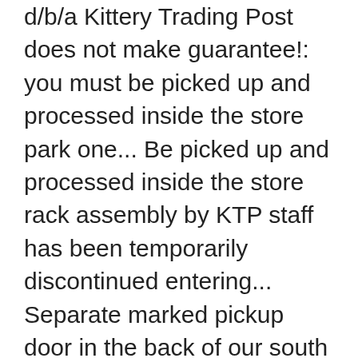d/b/a Kittery Trading Post does not make guarantee!: you must be picked up and processed inside the store park one... Be picked up and processed inside the store rack assembly by KTP staff has been temporarily discontinued entering... Separate marked pickup door in the back of our south parking lot on Qualifying Orders over $!! The 2-person Shappell® DX3000 Ice Shelter Shanty Portable Ice Fishing Tent Shelter Degree Ice.. Orders, please call the retail store be misleading, so check the carefully! Deployment, it features a Shappell sled, which allows for easy.... Solo Ice fisher often faces Fishing area Fishing Shelter is small â¦ Shappell WH5500 Wide House 5500